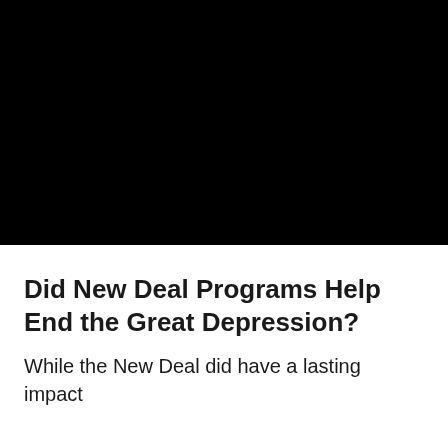[Figure (photo): Black rectangular image area, content not visible (fully black).]
Did New Deal Programs Help End the Great Depression?
While the New Deal did have a lasting impact